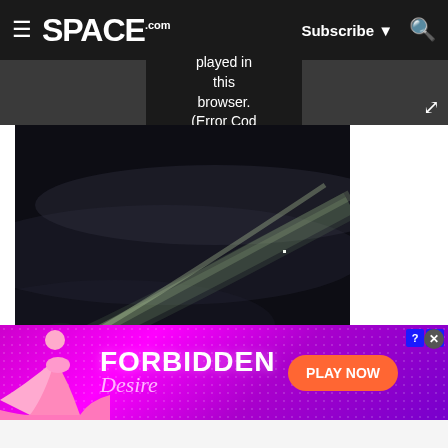SPACE.com — Subscribe — Search
[Figure (screenshot): Video player error overlay showing text: 'played in this browser. (Error Cod' on dark background]
[Figure (photo): Nighttime photograph of a bright comet with a glowing green/white nucleus and long tail streaking across a dark sky]
[Figure (photo): Advertisement banner for 'FORBIDDEN Desire' game with 'PLAY NOW' button on a magenta/purple dotted background]